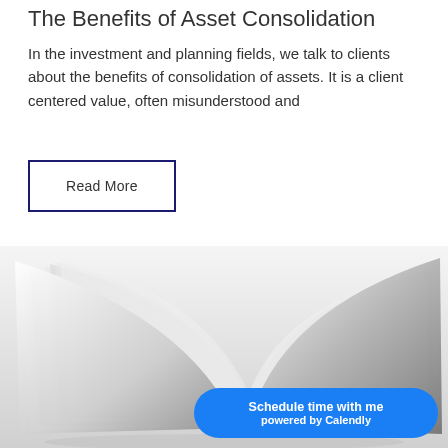The Benefits of Asset Consolidation
In the investment and planning fields, we talk to clients about the benefits of consolidation of assets. It is a client centered value, often misunderstood and
Read More
[Figure (photo): Close-up photograph of an open book with pages fanned out, shown in black and white tones against a light background.]
Schedule time with me powered by Calendly